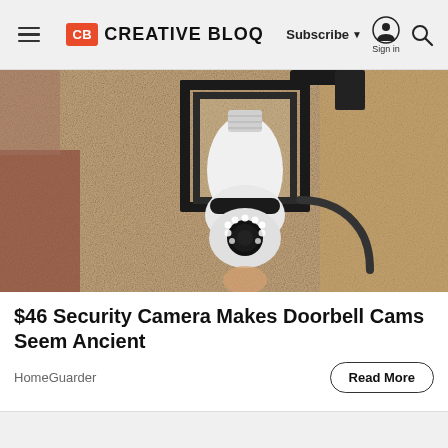Creative Bloq — Subscribe | Sign in
[Figure (photo): A security camera shaped like a light bulb mounted inside a black metal outdoor lantern fixture attached to a textured stucco wall.]
$46 Security Camera Makes Doorbell Cams Seem Ancient
HomeGuarder
Read More